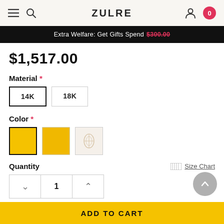ZULRE
Extra Welfare: Get Gifts Spend $300.00
$1,517.00
Material *
14K
18K
Color *
Quantity
Size Chart
1
Subtotal:  $1,517.00 USD
ADD TO CART